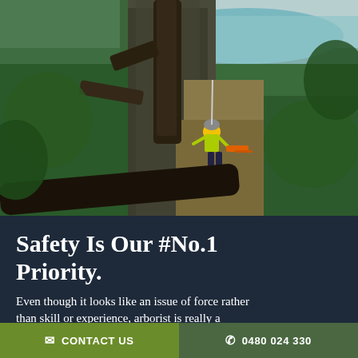[Figure (photo): An arborist wearing a yellow high-visibility jacket and safety gear climbs a large tall tree on a steep cliff edge, using a chainsaw. Green bush and a lake or river are visible in the background.]
Safety Is Our #No.1 Priority.
Even though it looks like an issue of force rather than skill or experience, arborist is really a
✉ CONTACT US   ✆ 0480 024 330